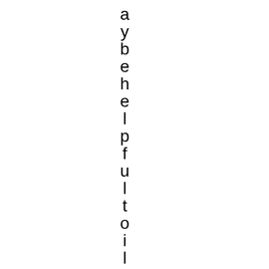a y b e h e l p f u l t o i l l